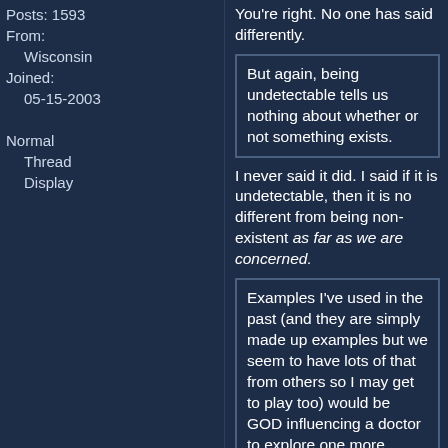Posts: 1593
From:
    Wisconsin
Joined:
    05-15-2003

Normal
    Thread
    Display
You're right. No one has said differently.
But again, being undetectable tells us nothing about whether or not something exists.
I never said it did. I said if it is undetectable, then it is no different from being non-existent as far as we are concerned.
Examples I've used in the past (and they are simply made up examples but we seem to have lots of that from others so I may get to play too) would be GOD influencing a doctor to explore one more option when diagnosing a patient, or GOD planting an inspiration that leads a person to some new insight or discovery.
But the brain of the doctor or the person being inspired has to detect the influence, or there has been no influence. We may never